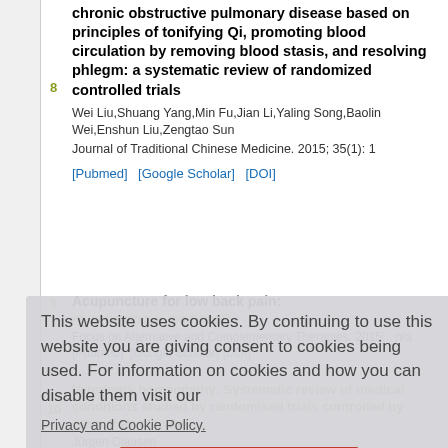8. Wei Liu, Shuang Yang, Min Fu, Jian Li, Yaling Song, Baolin Wei, Enshun Liu, Zengtao Sun. Chinese herbal medicine for chronic obstructive pulmonary disease based on principles of tonifying Qi, promoting blood circulation by removing blood stasis, and resolving phlegm: a systematic review of randomized controlled trials. Journal of Traditional Chinese Medicine. 2015; 35(1): 1. [Pubmed] [Google Scholar] [DOI]
9. Acupuncture for low back pain: ritual healing or medicine? Focus on Alternative and Complementary Therapies. 2015; : n/a. [Pubmed] [Google Scholar] [DOI]
10. Veterinary homeopathy: Systematic review of medical conditions studied by randomised trials controlled by other than placebo. Jürgen Clausen. BMC Veterinary Research. 2015; 11(1). [Pubmed] [Google Scholar] [DOI]
This website uses cookies. By continuing to use this website you are giving consent to cookies being used. For information on cookies and how you can disable them visit our Privacy and Cookie Policy.